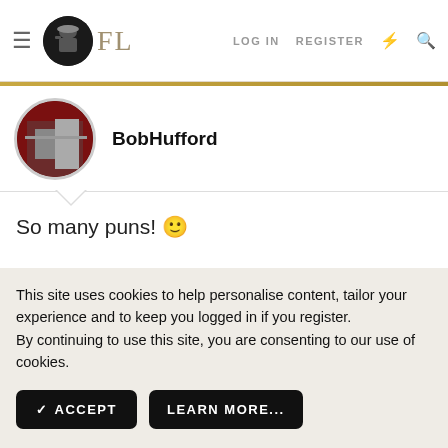FL — LOG IN  REGISTER
BobHufford
So many puns! 🙂
This site uses cookies to help personalise content, tailor your experience and to keep you logged in if you register. By continuing to use this site, you are consenting to our use of cookies.
✓ ACCEPT    LEARN MORE...
One of the Regulars
Is the Wilcox & Gibbs the only stitching machine for straw